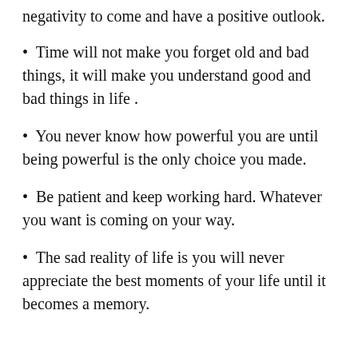negativity to come and have a positive outlook.
Time will not make you forget old and bad things, it will make you understand good and bad things in life .
You never know how powerful you are until being powerful is the only choice you made.
Be patient and keep working hard. Whatever you want is coming on your way.
The sad reality of life is you will never appreciate the best moments of your life until it becomes a memory.